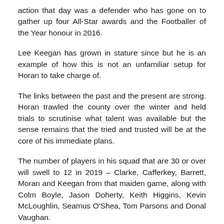action that day was a defender who has gone on to gather up four All-Star awards and the Footballer of the Year honour in 2016.
Lee Keegan has grown in stature since but he is an example of how this is not an unfamiliar setup for Horan to take charge of.
The links between the past and the present are strong. Horan trawled the county over the winter and held trials to scrutinise what talent was available but the sense remains that the tried and trusted will be at the core of his immediate plans.
The number of players in his squad that are 30 or over will swell to 12 in 2019 – Clarke, Cafferkey, Barrett, Moran and Keegan from that maiden game, along with Colm Boyle, Jason Doherty, Keith Higgins, Kevin McLoughlin, Seamus O'Shea, Tom Parsons and Donal Vaughan.
That group have been to the fore of Mayo's pursuit in